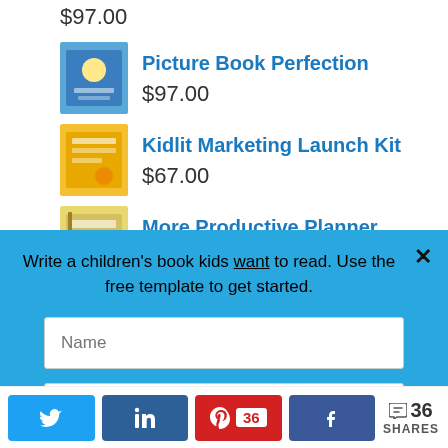$97.00
Picture Book Perfection
$97.00
Kidlit Marketing Launch Kit
$67.00
More Productive Planner
$47.00
Write a children's book kids want to read. Use the free template to get started.
Name
Email